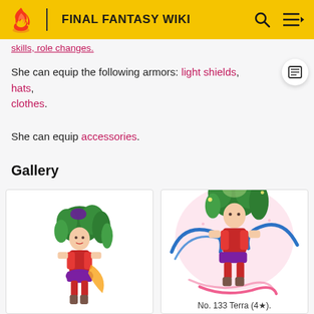FINAL FANTASY WIKI
She can equip the following armors: light shields, hats, clothes.
She can equip accessories.
Gallery
[Figure (illustration): Pixel art sprite of Terra (character) with green hair, red outfit, standing pose — Final Fantasy game sprite]
[Figure (illustration): Pixel art sprite of No. 133 Terra (4★) with green hair, red outfit, action pose with blue/pink magical effects]
No. 133 Terra (4★).